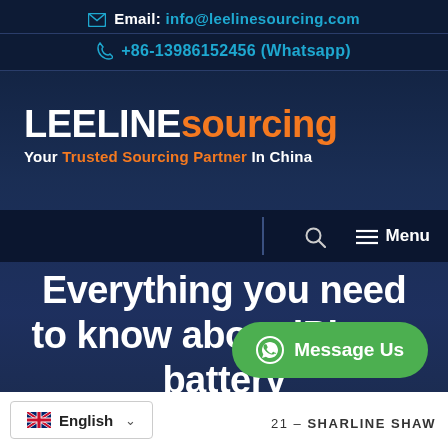Email: info@leelinesourcing.com
+86-13986152456 (Whatsapp)
LEELINE sourcing — Your Trusted Sourcing Partner In China
[Figure (screenshot): Website navigation bar with search icon and Menu button]
Everything you need to know about iPhone battery
Message Us
English  — SHARLINE SHAW